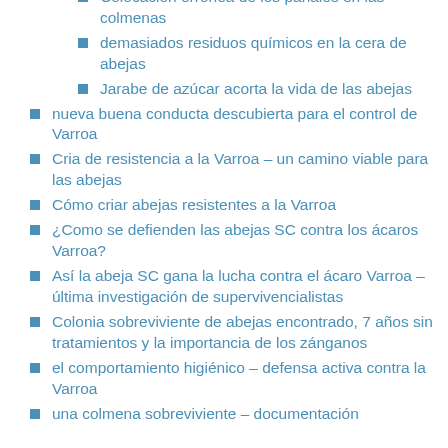abejas
Colocación erronea de los panales en las colmenas
demasiados residuos químicos en la cera de abejas
Jarabe de azúcar acorta la vida de las abejas
nueva buena conducta descubierta para el control de Varroa
Cria de resistencia a la Varroa – un camino viable para las abejas
Cómo criar abejas resistentes a la Varroa
¿Como se defienden las abejas SC contra los ácaros Varroa?
Así la abeja SC gana la lucha contra el ácaro Varroa – última investigación de supervivencialistas
Colonia sobreviviente de abejas encontrado, 7 años sin tratamientos y la importancia de los zánganos
el comportamiento higiénico – defensa activa contra la Varroa
una colmena sobreviviente – documentación